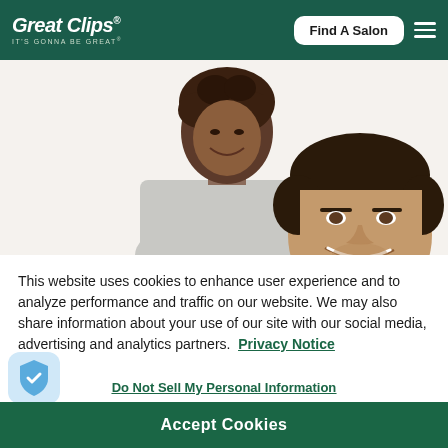Great Clips® IT'S GONNA BE GREAT® | Find A Salon
[Figure (photo): A smiling Black woman stylist looking down at a smiling man with dark hair getting a haircut, white background]
This website uses cookies to enhance user experience and to analyze performance and traffic on our website. We may also share information about your use of our site with our social media, advertising and analytics partners. Privacy Notice
Do Not Sell My Personal Information
Accept Cookies